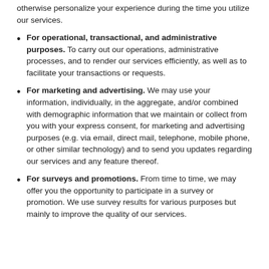otherwise personalize your experience during the time you utilize our services.
For operational, transactional, and administrative purposes. To carry out our operations, administrative processes, and to render our services efficiently, as well as to facilitate your transactions or requests.
For marketing and advertising. We may use your information, individually, in the aggregate, and/or combined with demographic information that we maintain or collect from you with your express consent, for marketing and advertising purposes (e.g. via email, direct mail, telephone, mobile phone, or other similar technology) and to send you updates regarding our services and any feature thereof.
For surveys and promotions. From time to time, we may offer you the opportunity to participate in a survey or promotion. We use survey results for various purposes but mainly to improve the quality of our services.